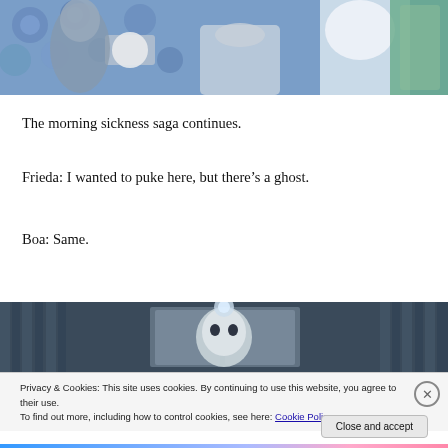[Figure (screenshot): Screenshot of a video game (The Sims) showing a bathroom scene with floral blue wallpaper, a toilet, toilet paper holder, and a ghost character in a white dress.]
The morning sickness saga continues.
Frieda: I wanted to puke here, but there’s a ghost.
Boa: Same.
[Figure (screenshot): Screenshot of a video game (The Sims) showing a bathroom with curtains and a ghost face visible through a window.]
Privacy & Cookies: This site uses cookies. By continuing to use this website, you agree to their use.
To find out more, including how to control cookies, see here: Cookie Policy
Close and accept